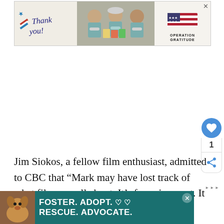[Figure (screenshot): Advertisement banner: 'Thank you!' with Operation Gratitude logo and healthcare workers holding cards]
[Figure (screenshot): Heart/like button showing count of 1, and share button below it — social interaction widget]
Jim Siokos, a fellow film enthusiast, admitted to CBC that “Mark may have lost track of what film was all about. It’s for enjoyment. It is for art,” [text continues] to
[Figure (screenshot): Bottom advertisement banner: 'FOSTER. ADOPT. RESCUE. ADVOCATE.' with dog image on teal background and heart symbols]